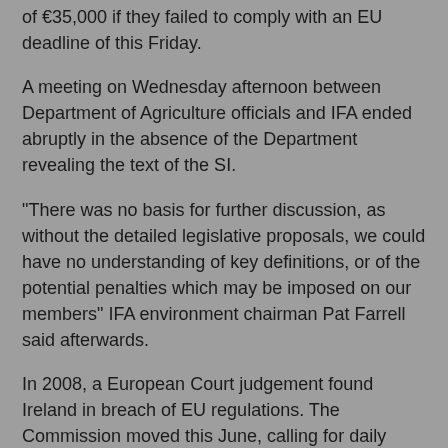of €35,000 if they failed to comply with an EU deadline of this Friday.
A meeting on Wednesday afternoon between Department of Agriculture officials and IFA ended abruptly in the absence of the Department revealing the text of the SI.
"There was no basis for further discussion, as without the detailed legislative proposals, we could have no understanding of key definitions, or of the potential penalties which may be imposed on our members" IFA environment chairman Pat Farrell said afterwards.
In 2008, a European Court judgement found Ireland in breach of EU regulations. The Commission moved this June, calling for daily fines for our failure to respond. With the clock ticking, Agricultural Minister Simon Coveney and Environment Minister Phil Hogan will sign the Statutory Instrument before the week is out. A commencement date for the new regulations, as yet unknown, will be included.
Phil Hogan laid the blame for Ireland's forced position firmly at his predecessor John Gormley's door. "Gormley had...